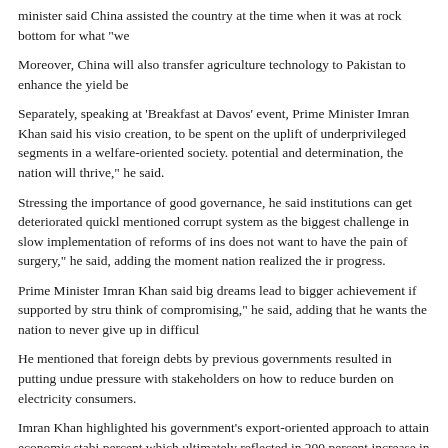minister said China assisted the country at the time when it was at rock bottom for what "we
Moreover, China will also transfer agriculture technology to Pakistan to enhance the yield be
Separately, speaking at ‘Breakfast at Davos’ event, Prime Minister Imran Khan said his visio creation, to be spent on the uplift of underprivileged segments in a welfare-oriented society. potential and determination, the nation will thrive,” he said.
Stressing the importance of good governance, he said institutions can get deteriorated quickl mentioned corrupt system as the biggest challenge in slow implementation of reforms of ins does not want to have the pain of surgery,” he said, adding the moment nation realized the ir progress.
Prime Minister Imran Khan said big dreams lead to bigger achievement if supported by stru think of compromising,” he said, adding that he wants the nation to never give up in difficul
He mentioned that foreign debts by previous governments resulted in putting undue pressure with stakeholders on how to reduce burden on electricity consumers.
Imran Khan highlighted his government’s export-oriented approach to attain economic stabi percent which ultimately reflected in 200 percent increase in foreign investment. “I am conf staying steadfast during challenges is important to achieve goals.
Prime Minister Imran Khan, while assuring full cooperation of the government to investors a technology in line with the government’s ‘Clean & Green Pakistan’.
He was talking to James Quincey, Chairman and Chief Executive Officer (CEO) of Coca-Co